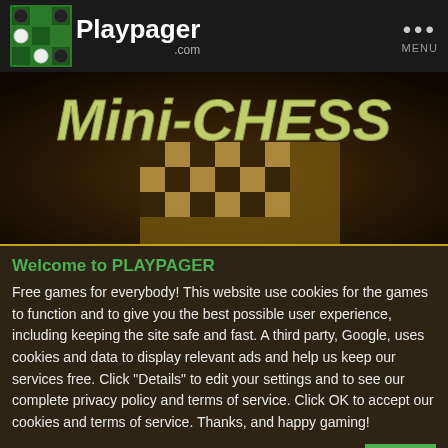[Figure (logo): Playpager.com logo with checkerboard icon and text, plus MENU button in top-right]
[Figure (photo): Mini-CHESS banner image showing a chess board with pieces, bold italic gold/green text 'Mini-CHESS' overlaid]
Welcome to PLAYPAGER
Free games for everybody! This website use cookies for the games to function and to give you the best possible user experience, including keeping the site safe and fast. A third party, Google, uses cookies and data to display relevant ads and help us keep our services free. Click "Details" to edit your settings and to see our complete privacy policy and terms of service. Click OK to accept our cookies and terms of service. Thanks, and happy gaming!